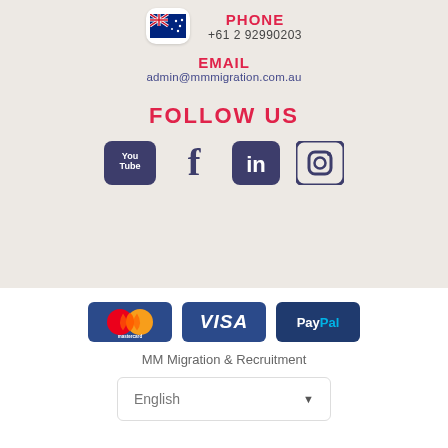PHONE
+61 2 92990203
EMAIL
admin@mmmigration.com.au
FOLLOW US
[Figure (infographic): Social media icons: YouTube, Facebook, LinkedIn, Instagram]
[Figure (infographic): Payment method badges: Mastercard, VISA, PayPal]
MM Migration & Recruitment
English